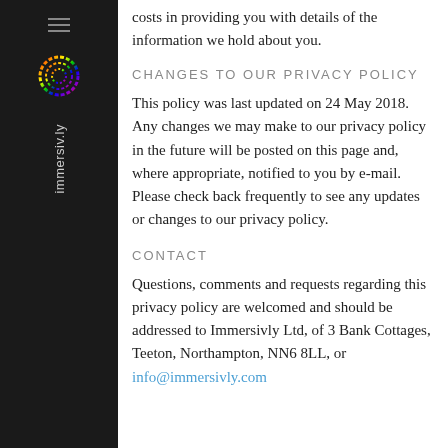costs in providing you with details of the information we hold about you.
CHANGES TO OUR PRIVACY POLICY
This policy was last updated on 24 May 2018. Any changes we may make to our privacy policy in the future will be posted on this page and, where appropriate, notified to you by e-mail. Please check back frequently to see any updates or changes to our privacy policy.
CONTACT
Questions, comments and requests regarding this privacy policy are welcomed and should be addressed to Immersivly Ltd, of 3 Bank Cottages, Teeton, Northampton, NN6 8LL, or info@immersivly.com